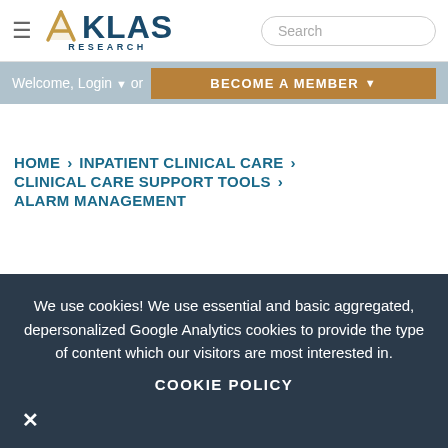KLAS RESEARCH — hamburger menu, search box
Welcome, Login ▾ or  BECOME A MEMBER ▾
HOME > INPATIENT CLINICAL CARE > CLINICAL CARE SUPPORT TOOLS > ALARM MANAGEMENT
We use cookies! We use essential and basic aggregated, depersonalized Google Analytics cookies to provide the type of content which our visitors are most interested in.
COOKIE POLICY
✕